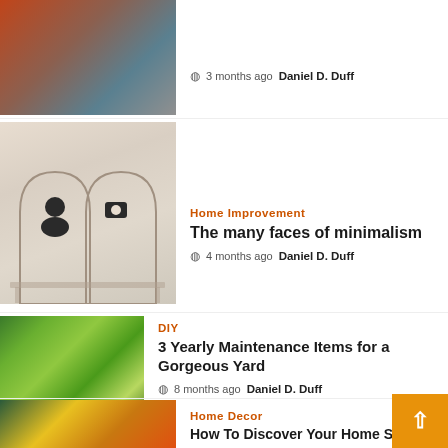[Figure (photo): Partial view of an electrician or technician working with wires, wearing red gloves]
3 months ago  Daniel D. Duff
[Figure (photo): Minimalist interior with arched walls, decorative icons, bench and vase]
Home Improvement
The many faces of minimalism
4 months ago  Daniel D. Duff
[Figure (photo): Garden with large green hosta plants and pink flowers]
DIY
3 Yearly Maintenance Items for a Gorgeous Yard
8 months ago  Daniel D. Duff
[Figure (photo): Colorful throw pillows on a sofa - teal, yellow-green, orange colors]
Home Decor
How To Discover Your Home Style